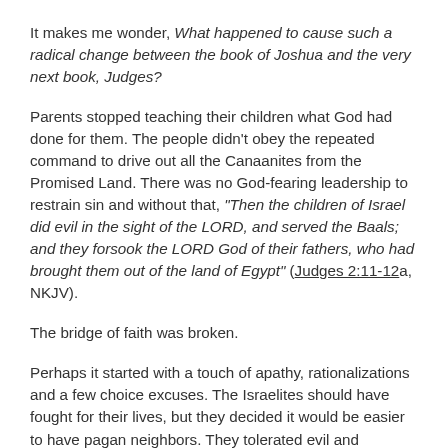It makes me wonder, What happened to cause such a radical change between the book of Joshua and the very next book, Judges?
Parents stopped teaching their children what God had done for them. The people didn't obey the repeated command to drive out all the Canaanites from the Promised Land. There was no God-fearing leadership to restrain sin and without that, "Then the children of Israel did evil in the sight of the LORD, and served the Baals; and they forsook the LORD God of their fathers, who had brought them out of the land of Egypt" (Judges 2:11-12a, NKJV).
The bridge of faith was broken.
Perhaps it started with a touch of apathy, rationalizations and a few choice excuses. The Israelites should have fought for their lives, but they decided it would be easier to have pagan neighbors. They tolerated evil and eventually accepted it as